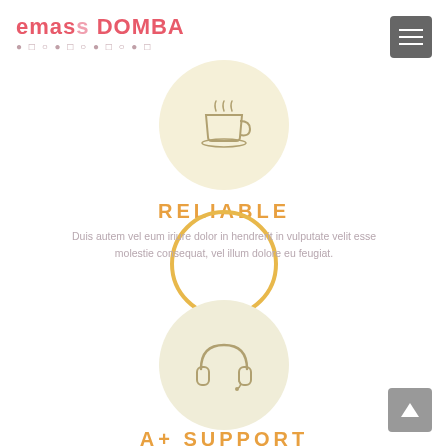emass DOMBA — website header logo
[Figure (illustration): Circular icon with cream/yellow background showing a steaming coffee cup icon, centered near top of page]
RELIABLE
Duis autem vel eum iriure dolor in hendrerit in vulputate velit esse molestie consequat, vel illum dolore eu feugiat.
[Figure (illustration): Circular icon with gold/yellow outline border and transparent background, centered in middle of page (part of RELIABLE section)]
[Figure (illustration): Circular icon with cream/yellow background showing a headphones/support icon]
A+ SUPPORT